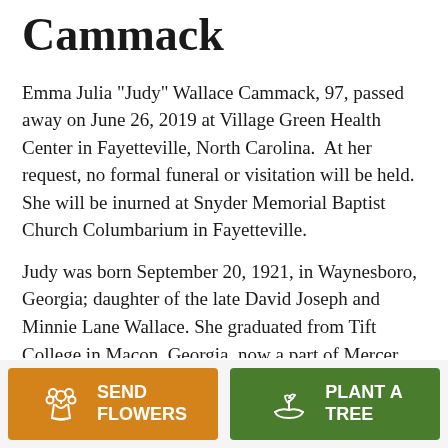Cammack
Emma Julia "Judy" Wallace Cammack, 97, passed away on June 26, 2019 at Village Green Health Center in Fayetteville, North Carolina.  At her request, no formal funeral or visitation will be held. She will be inurned at Snyder Memorial Baptist Church Columbarium in Fayetteville.
Judy was born September 20, 1921, in Waynesboro, Georgia; daughter of the late David Joseph and Minnie Lane Wallace. She graduated from Tift College in Macon, Georgia, now a part of Mercer